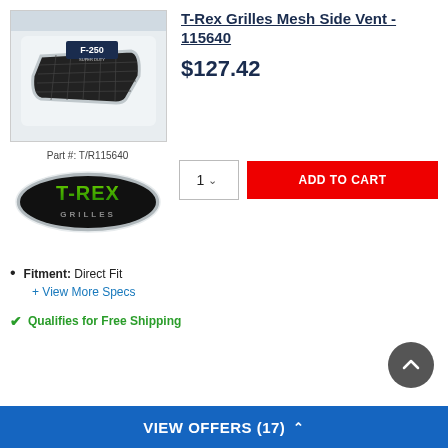[Figure (photo): Product photo of T-Rex F-250 mesh side vent installed on a white truck fender]
T-Rex Grilles Mesh Side Vent - 115640
$127.42
Part #: T/R115640
[Figure (logo): T-Rex Grilles brand logo - oval shaped badge with T-REX text in green and GRILLES below]
1
ADD TO CART
Fitment: Direct Fit
+ View More Specs
✓ Qualifies for Free Shipping
VIEW OFFERS (17) ^